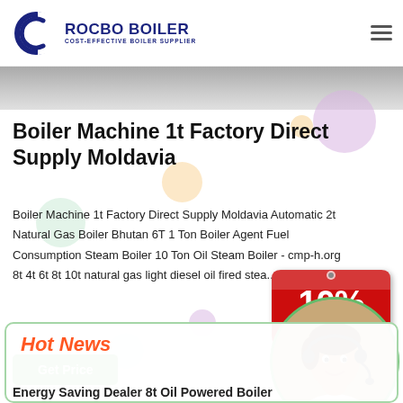ROCBO BOILER - COST-EFFECTIVE BOILER SUPPLIER
[Figure (photo): Partial image strip at top of page content area]
Boiler Machine 1t Factory Direct Supply Moldavia
Boiler Machine 1t Factory Direct Supply Moldavia Automatic 2t Natural Gas Boiler Bhutan 6T 1 Ton Boiler Agent Fuel Consumption Steam Boiler 10 Ton Oil Steam Boiler - cmp-h.org 8t 4t 6t 8t 10t natural gas light diesel oil fired stea...
[Figure (infographic): 10% DISCOUNT badge in red and white]
Get Price
Hot News
[Figure (photo): Customer service representative with headset, circular crop]
Energy Saving Dealer 8t Oil Powered Boiler